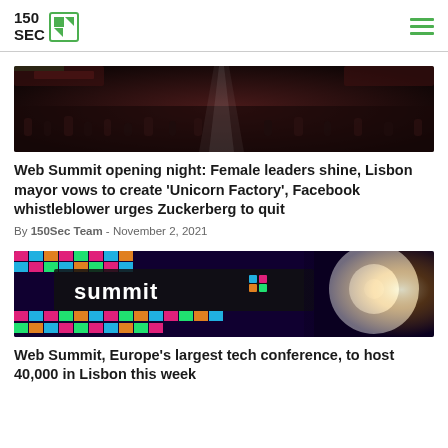150 SEC
[Figure (photo): Dark crowd scene at Web Summit opening night event]
Web Summit opening night: Female leaders shine, Lisbon mayor vows to create ‘Unicorn Factory’, Facebook whistleblower urges Zuckerberg to quit
By 150Sec Team - November 2, 2021
[Figure (photo): Web Summit colorful LED display showing the word 'summit' with bright lights]
Web Summit, Europe’s largest tech conference, to host 40,000 in Lisbon this week